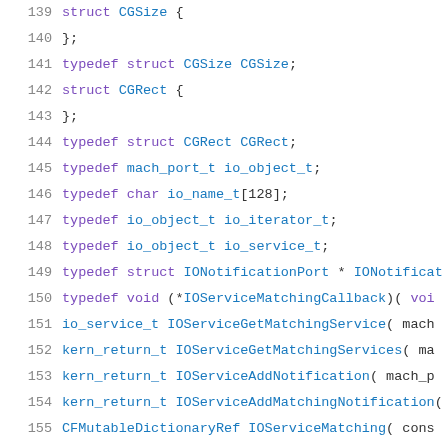[Figure (screenshot): Source code listing showing lines 139-160 of a C/Objective-C header file with type definitions and function declarations related to CoreGraphics and IOKit frameworks. Line numbers in gray on left, keywords in purple, type names in blue.]